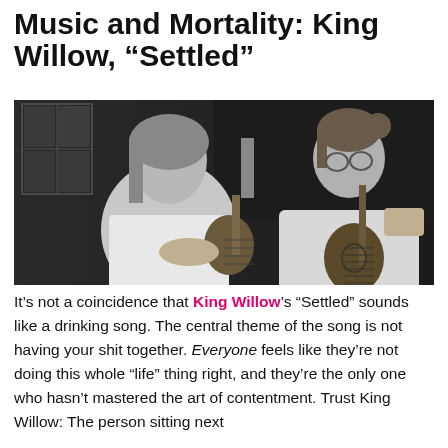Music and Mortality: King Willow, “Settled”
[Figure (photo): Black and white photo of two young women playing instruments together. The woman on the left plays a ukulele, wearing a white t-shirt with long hair. The woman on the right plays an acoustic guitar, wearing a light t-shirt with hair pulled back and glasses.]
It’s not a coincidence that King Willow’s “Settled” sounds like a drinking song. The central theme of the song is not having your shit together. Everyone feels like they’re not doing this whole “life” thing right, and they’re the only one who hasn’t mastered the art of contentment. Trust King Willow: The person sitting next